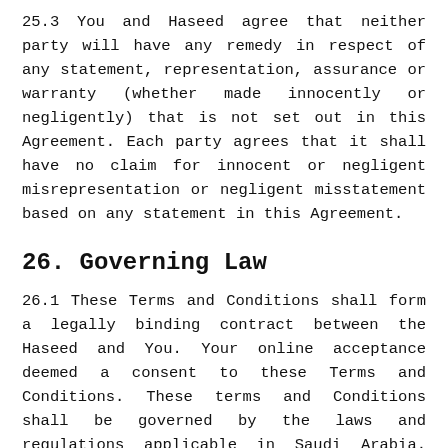25.3 You and Haseed agree that neither party will have any remedy in respect of any statement, representation, assurance or warranty (whether made innocently or negligently) that is not set out in this Agreement. Each party agrees that it shall have no claim for innocent or negligent misrepresentation or negligent misstatement based on any statement in this Agreement.
26. Governing Law
26.1 These Terms and Conditions shall form a legally binding contract between the Haseed and You. Your online acceptance deemed a consent to these Terms and Conditions. These terms and Conditions shall be governed by the laws and regulations applicable in Saudi Arabia. Haseed and you will seek to resolve amicably any dispute arising out of or in connection with these Terms and Conditions and the matters contemplated herein. In the event that a dispute